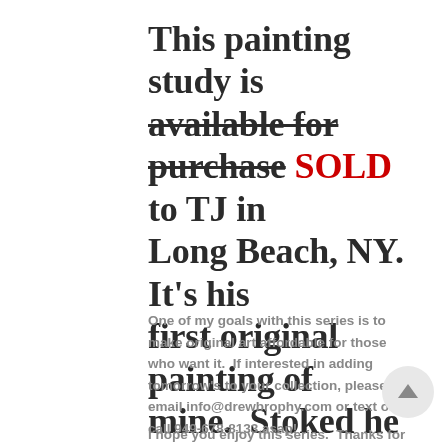This painting study is ~~available for~~ ~~purchase~~ SOLD to TJ in Long Beach, NY.  It's his first original painting of mine.  Stoked he got it!
One of my goals with this series is to make original art affordable for those who want it.  If interested in adding tomorrow's to your collection, please email info@drewbrophy.com or text or call 949-678-8133 asap!
I hope you enjoy this series.  Thanks for reading!